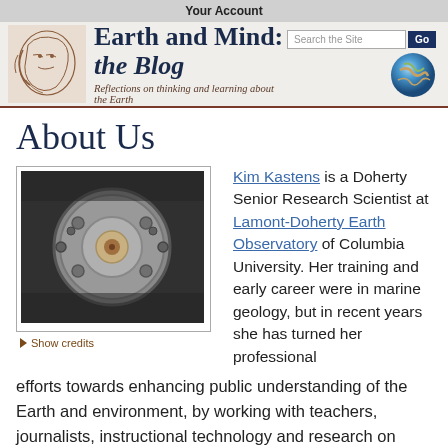Your Account
Earth and Mind: the Blog — Reflections on thinking and learning about the Earth
About Us
[Figure (photo): Close-up photograph of a circular metal scientific instrument or deep-sea equipment with bolts and a porthole]
Show credits
Kim Kastens is a Doherty Senior Research Scientist at Lamont-Doherty Earth Observatory of Columbia University. Her training and early career were in marine geology, but in recent years she has turned her professional efforts towards enhancing public understanding of the Earth and environment, by working with teachers, journalists, instructional technology and research on learning. Her current research focus is spatial thinking in geosciences.